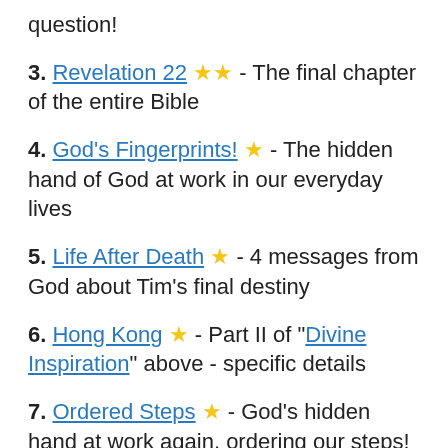question!
3. Revelation 22 ★★ - The final chapter of the entire Bible
4. God's Fingerprints! ★ - The hidden hand of God at work in our everyday lives
5. Life After Death ★ - 4 messages from God about Tim's final destiny
6. Hong Kong ★ - Part II of "Divine Inspiration" above - specific details
7. Ordered Steps ★ - God's hidden hand at work again, ordering our steps!
Books: